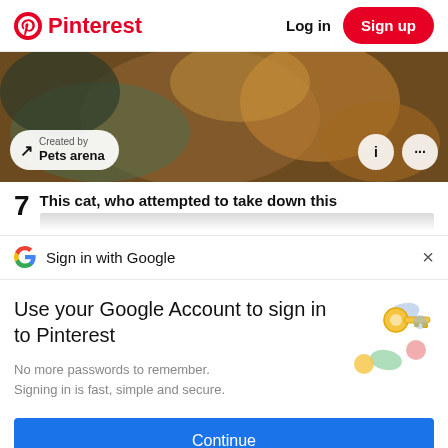[Figure (screenshot): Pinterest navigation bar with logo, Log in text and Sign up button]
[Figure (photo): Banner image of a cat with decorative accessories, showing 'Created by Pets arena' pill and info icons]
7   This cat, who attempted to take down this
Sign in with Google
Use your Google Account to sign in to Pinterest
No more passwords to remember. Signing in is fast, simple and secure.
[Figure (illustration): Google sign-in illustration with a key and colorful circles]
Continue